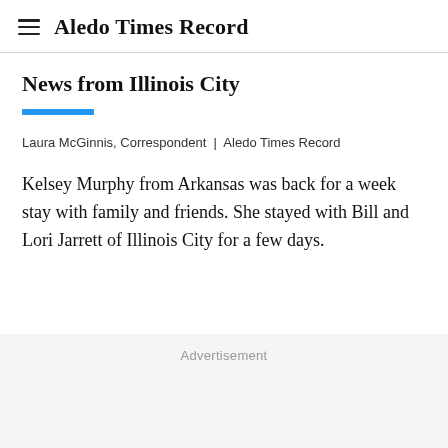Aledo Times Record
News from Illinois City
Laura McGinnis, Correspondent  |  Aledo Times Record
Kelsey Murphy from Arkansas was back for a week stay with family and friends. She stayed with Bill and Lori Jarrett of Illinois City for a few days.
Advertisement